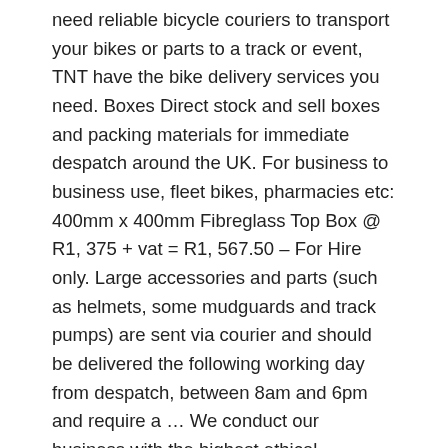need reliable bicycle couriers to transport your bikes or parts to a track or event, TNT have the bike delivery services you need. Boxes Direct stock and sell boxes and packing materials for immediate despatch around the UK. For business to business use, fleet bikes, pharmacies etc: 400mm x 400mm Fibreglass Top Box @ R1, 375 + vat = R1, 567.50 – For Hire only. Large accessories and parts (such as helmets, some mudguards and track pumps) are sent via courier and should be delivered the following working day from despatch, between 8am and 6pm and require a … We conduct our business with the highest ethical standards and honesty. As experts in delivery and logistics we specialise in providing a range of services, including our bike couriers and deliveries. The Enviro Bike Box is a great solution. Customer retention and loyalty is strongly impacted by the delivery experience